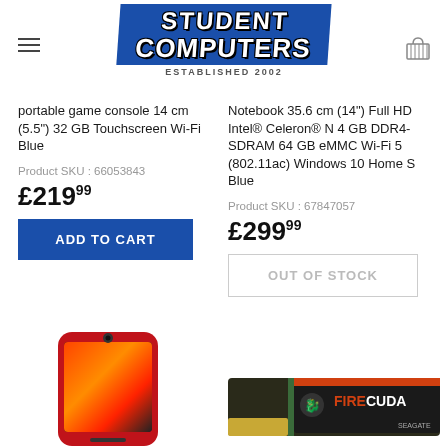Student Computers — ESTABLISHED 2002
portable game console 14 cm (5.5") 32 GB Touchscreen Wi-Fi Blue
Product SKU : 66053843
£219.99
ADD TO CART
Notebook 35.6 cm (14") Full HD Intel® Celeron® N 4 GB DDR4-SDRAM 64 GB eMMC Wi-Fi 5 (802.11ac) Windows 10 Home S Blue
Product SKU : 67847057
£299.99
OUT OF STOCK
[Figure (photo): Red iPhone SE smartphone]
[Figure (photo): Seagate FireCuda SSD drive]